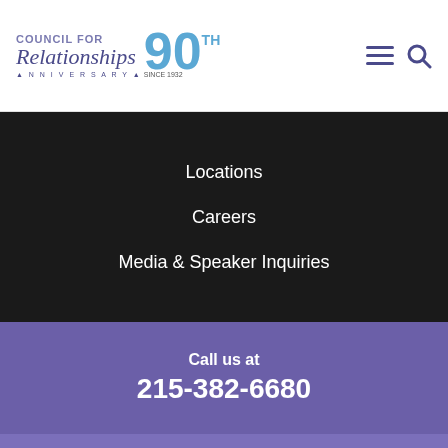[Figure (logo): Council for Relationships 90th Anniversary logo with blue script text and large blue '90' number]
Locations
Careers
Media & Speaker Inquiries
Call us at
215-382-6680
CONTACT US